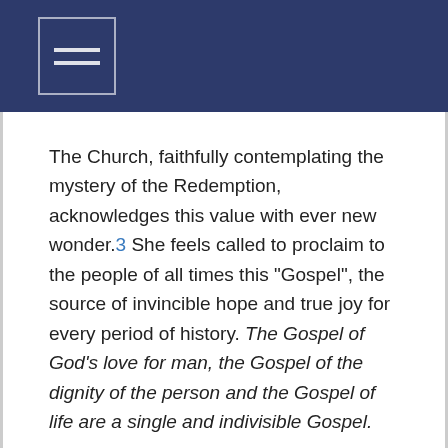The Church, faithfully contemplating the mystery of the Redemption, acknowledges this value with ever new wonder.3 She feels called to proclaim to the people of all times this "Gospel", the source of invincible hope and true joy for every period of history. The Gospel of God's love for man, the Gospel of the dignity of the person and the Gospel of life are a single and indivisible Gospel.
For this reason, man—living man—represents the primary and fundamental way for the Church.4